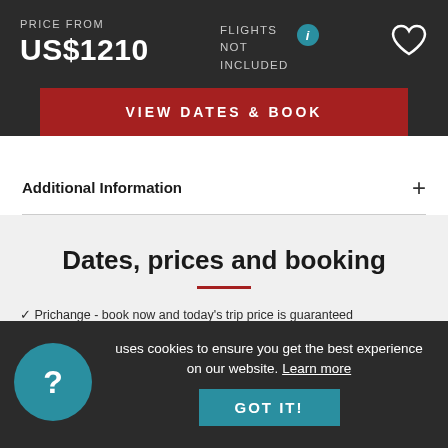PRICE FROM
US$1210
FLIGHTS NOT INCLUDED
VIEW DATES & BOOK
Additional Information
Dates, prices and booking
✓ Price change - book now and today's trip price is guaranteed
This site uses cookies to ensure you get the best experience on our website. Learn more
GOT IT!